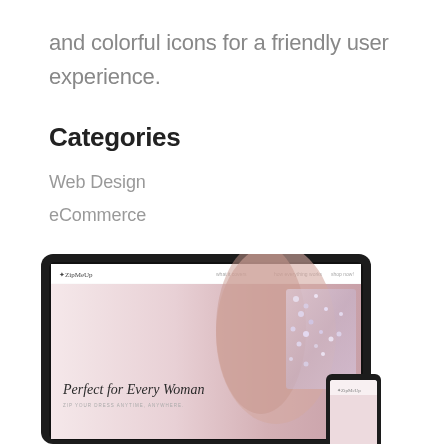and colorful icons for a friendly user experience.
Categories
Web Design
eCommerce
[Figure (screenshot): Screenshot of a website called ZipMeUp displayed on a dark-framed laptop/tablet device, showing a hero section with a woman in a bejeweled dress and text 'Perfect for Every Woman'. A mobile phone device is partially visible on the right side.]